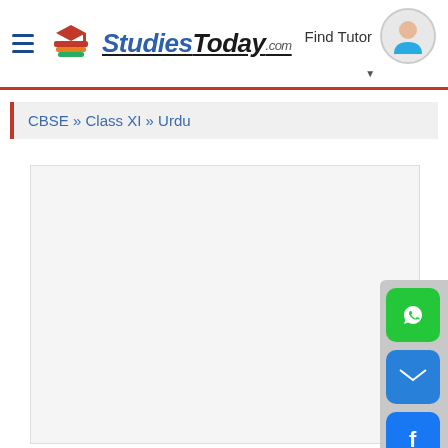[Figure (logo): StudiesToday.com logo with hamburger menu icon and book/graduation cap illustration]
Find Tutor
[Figure (illustration): User avatar icon in circle]
CBSE » Class XI » Urdu
[Figure (screenshot): Large empty light gray content area]
[Figure (infographic): Social sharing sidebar with WhatsApp (green), Email (blue), and Facebook (blue) buttons]